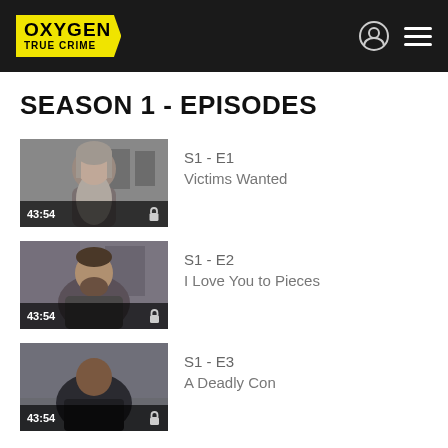Oxygen True Crime
SEASON 1 - EPISODES
[Figure (screenshot): Episode thumbnail S1-E1 showing man with long gray beard]
S1 - E1
Victims Wanted
[Figure (screenshot): Episode thumbnail S1-E2 showing man with short dark beard]
S1 - E2
I Love You to Pieces
[Figure (screenshot): Episode thumbnail S1-E3 showing man in dark jacket]
S1 - E3
A Deadly Con